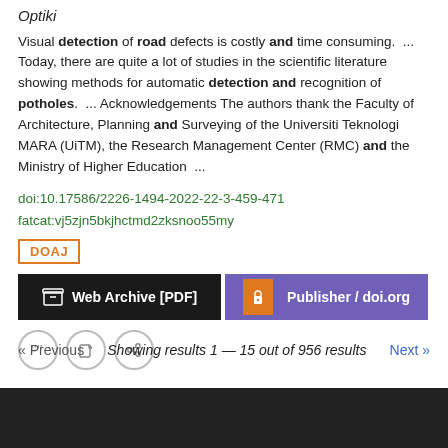Optiki
Visual detection of road defects is costly and time consuming. ... Today, there are quite a lot of studies in the scientific literature showing methods for automatic detection and recognition of potholes. ... Acknowledgements The authors thank the Faculty of Architecture, Planning and Surveying of the Universiti Teknologi MARA (UiTM), the Research Management Center (RMC) and the Ministry of Higher Education ...
doi:10.17586/2226-1494-2022-22-3-459-471
fatcat:vj5zjn5bkjhctmd2zksnoo55my
DOAJ
Web Archive [PDF]  Publisher / doi.org
« Previous   Showing results 1 — 15 out of 956 results   Next »